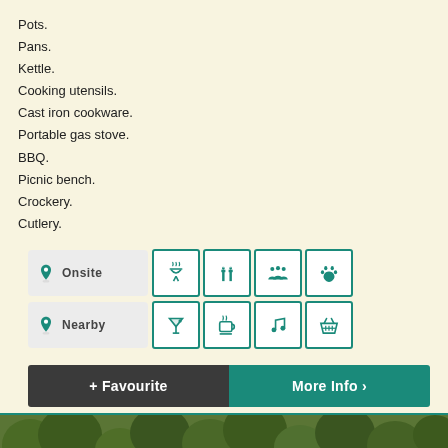Pots.
Pans.
Kettle.
Cooking utensils.
Cast iron cookware.
Portable gas stove.
BBQ.
Picnic bench.
Crockery.
Cutlery.
[Figure (infographic): Onsite and Nearby icons with BBQ, candles, people, paw print (Onsite); cocktail, coffee, music, basket (Nearby)]
[Figure (infographic): + Favourite and More Info buttons]
[Figure (photo): Photo of trees/nature scene at bottom of page]